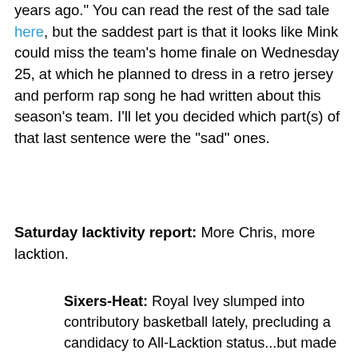years ago." You can read the rest of the sad tale here, but the saddest part is that it looks like Mink could miss the team's home finale on Wednesday 25, at which he planned to dress in a retro jersey and perform rap song he had written about this season's team. I'll let you decided which part(s) of that last sentence were the "sad" ones.
Saturday lacktivity report: More Chris, more lacktion.
Sixers-Heat: Royal Ivey slumped into contributory basketball lately, precluding a candidacy to All-Lacktion status...but made up for that slight nicely with a three-brick special in 13:30 for +3, including two building blocks from downtown. On the other hand, Joel Anthony justified his selection to the squad of star sleepers with a +1 (foul) in 3:50 for Miami, which also represented a Madsen-level Voskuhl of 1:0.
Hornets-Jazz: Melvin Ely -- a former Clippers' 1st-rounder -- gave up the rock and took a foul